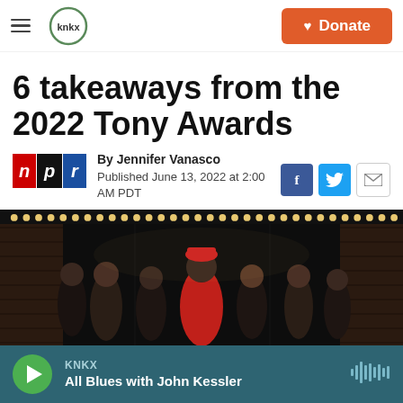KNKX | Donate
6 takeaways from the 2022 Tony Awards
By Jennifer Vanasco
Published June 13, 2022 at 2:00 AM PDT
[Figure (photo): Cast members of a Broadway musical on stage, in front of theatrical lighting. Several performers in colorful costumes laughing and celebrating. One central figure wears a red hat.]
KNKX
All Blues with John Kessler